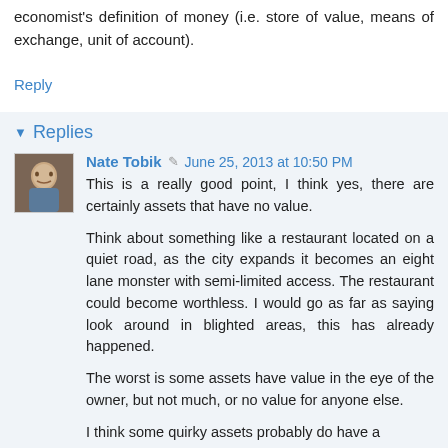economist's definition of money (i.e. store of value, means of exchange, unit of account).
Reply
Replies
Nate Tobik  June 25, 2013 at 10:50 PM
This is a really good point, I think yes, there are certainly assets that have no value.

Think about something like a restaurant located on a quiet road, as the city expands it becomes an eight lane monster with semi-limited access. The restaurant could become worthless. I would go as far as saying look around in blighted areas, this has already happened.

The worst is some assets have value in the eye of the owner, but not much, or no value for anyone else.

I think some quirky assets probably do have a